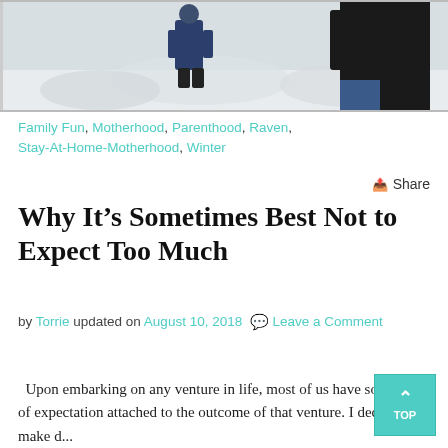[Figure (photo): Outdoor winter scene showing a child and an adult standing in snow]
Family Fun, Motherhood, Parenthood, Raven, Stay-At-Home-Motherhood, Winter
Share
Why It's Sometimes Best Not to Expect Too Much
by Torrie updated on August 10, 2018 💬 Leave a Comment
Upon embarking on any venture in life, most of us have some kind of expectation attached to the outcome of that venture. I decided to make d... yesterday. I expected they would be delicious. (The...